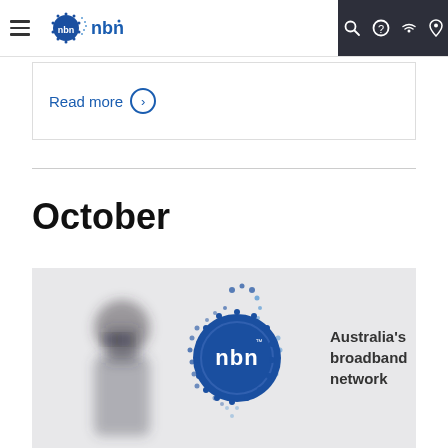[Figure (screenshot): NBN website navigation bar with hamburger menu, nbn logo, and dark right section with search, help, wifi, and location icons]
Read more ⊙
October
[Figure (photo): NBN branded image showing a blurred person walking past an nbn Australia's broadband network logo display]